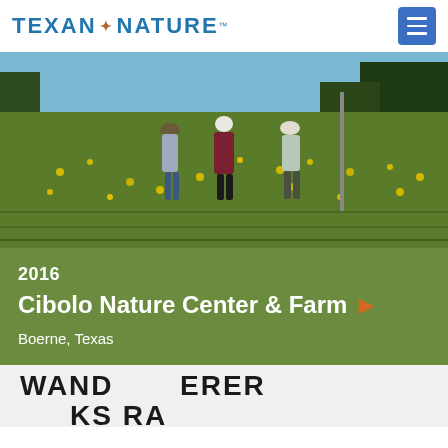TEXAN by NATURE™
[Figure (photo): Three people walking away from camera through a field of yellow wildflowers and tall green grass, with trees in the background and a metal post visible on the right.]
2016
Cibolo Nature Center & Farm
Boerne, Texas
[Figure (logo): Partial view of a logo with large bold black letters partially visible — appears to read 'WANDER ... KS RA...' on a white/light background.]